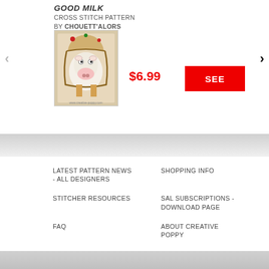GOOD MILK
CROSS STITCH PATTERN
BY CHOUETT'ALORS
[Figure (photo): Cross stitch pattern product photo showing a cow in an embroidered frame with floral decorations]
$6.99
SEE
LATEST PATTERN NEWS - ALL DESIGNERS
SHOPPING INFO
STITCHER RESOURCES
SAL SUBSCRIPTIONS - DOWNLOAD PAGE
FAQ
ABOUT CREATIVE POPPY